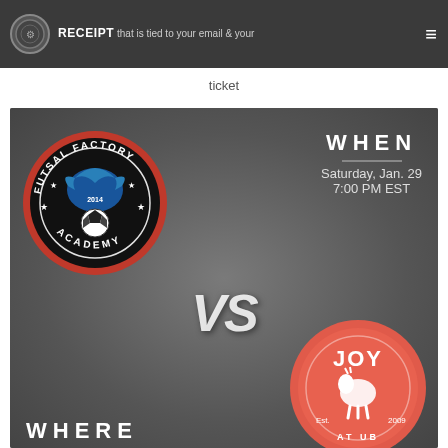RECEIPT that is tied to your email & your ticket
ticket
[Figure (infographic): Sports event promotional graphic with dark grey background. Shows Futsal Factory Academy logo (circular, black with blue phoenix and soccer ball, est. 2014) on the upper left. Upper right shows WHEN: Saturday, Jan. 29, 7:00 PM EST. Center shows stylized italic 'VS' text in white. Lower right shows Joy Athletic Club logo (circular, coral/red-orange, est. 2009 with a goat figure). Bottom left shows partial text WHERE.]